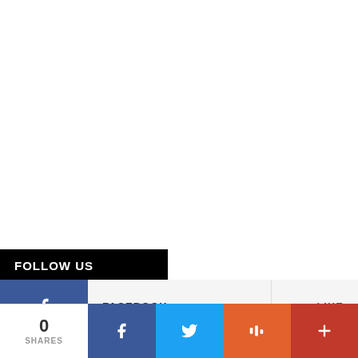FOLLOW US
FACEBOOK  LIKE
TWITTER  FOLLOW
0 SHARES